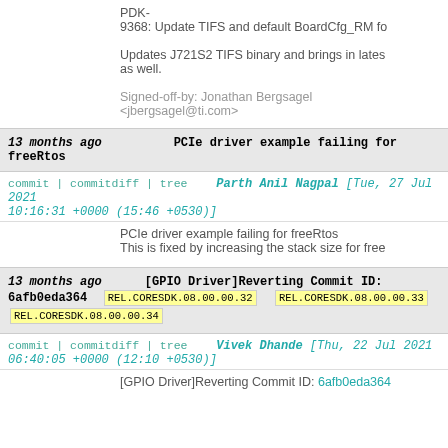PDK-9368: Update TIFS and default BoardCfg_RM fo
Updates J721S2 TIFS binary and brings in lates as well.
Signed-off-by: Jonathan Bergsagel <jbergsagel@ti.com>
13 months ago   PCIe driver example failing for freeRtos
commit | commitdiff | tree   Parth Anil Nagpal [Tue, 27 Jul 2021 10:16:31 +0000 (15:46 +0530)]
PCIe driver example failing for freeRtos
This is fixed by increasing the stack size for free
13 months ago   [GPIO Driver]Reverting Commit ID: 6afb0eda364   REL.CORESDK.08.00.00.32   REL.CORESDK.08.00.00.33   REL.CORESDK.08.00.00.34
commit | commitdiff | tree   Vivek Dhande [Thu, 22 Jul 2021 06:40:05 +0000 (12:10 +0530)]
[GPIO Driver]Reverting Commit ID: 6afb0eda364